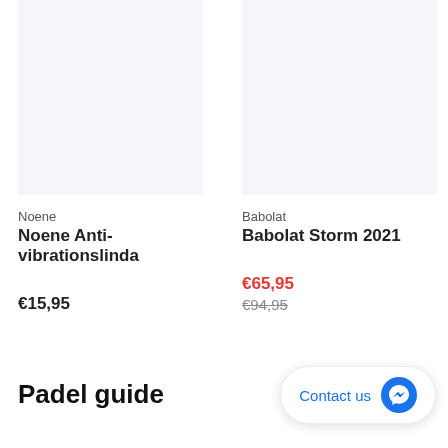[Figure (photo): Product image placeholder for Noene Anti-vibrationslinda, light blue-gray background]
[Figure (photo): Product image placeholder for Babolat Storm 2021, light blue-gray background]
Noene
Babolat
Noene Anti-vibrationslinda
Babolat Storm 2021
€15,95
€65,95
€94,95
Padel guide
Contact us